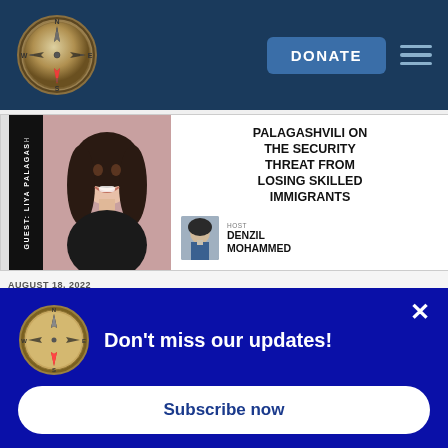[Figure (logo): Compass rose logo in the top navigation header]
DONATE
[Figure (illustration): Podcast card with guest photo of Liya Palagashvili, black sidebar with vertical text 'GUEST: LIYA PALAGAS', and podcast title text with host info]
PALAGASHVILI ON THE SECURITY THREAT FROM LOSING SKILLED IMMIGRANTS
HOST DENZIL MOHAMMED
AUGUST 18, 2022
Don't miss our updates!
Subscribe now